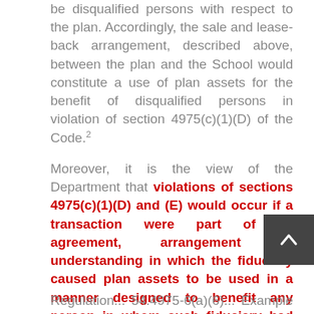be disqualified persons with respect to the plan. Accordingly, the sale and lease-back arrangement, described above, between the plan and the School would constitute a use of plan assets for the benefit of disqualified persons in violation of section 4975(c)(1)(D) of the Code.²
Moreover, it is the view of the Department that violations of sections 4975(c)(1)(D) and (E) would occur if a transaction were part of an agreement, arrangement or understanding in which the fiduciary caused plan assets to be used in a manner designed to benefit any person in whom such fiduciary had an interest that would affect the exercise of his or her best judgement as a fiduciary. For example, Treasury Regulation... 54.4975-6(a)(6)... Example (5)...